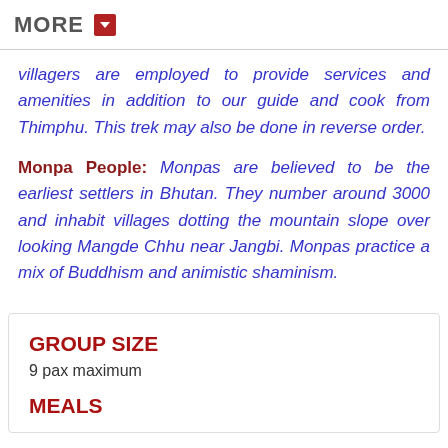MORE
villagers are employed to provide services and amenities in addition to our guide and cook from Thimphu. This trek may also be done in reverse order.
Monpa People: Monpas are believed to be the earliest settlers in Bhutan. They number around 3000 and inhabit villages dotting the mountain slope over looking Mangde Chhu near Jangbi. Monpas practice a mix of Buddhism and animistic shaminism.
GROUP SIZE
9 pax maximum
MEALS